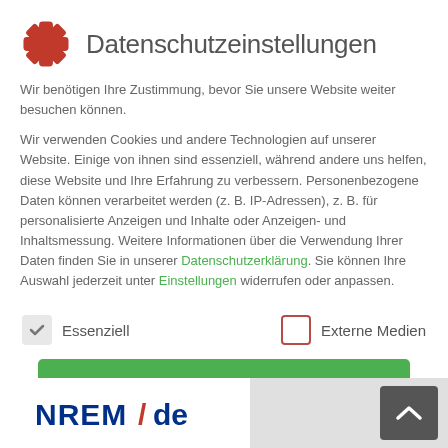Datenschutzeinstellungen
Wir benötigen Ihre Zustimmung, bevor Sie unsere Website weiter besuchen können.
Wir verwenden Cookies und andere Technologien auf unserer Website. Einige von ihnen sind essenziell, während andere uns helfen, diese Website und Ihre Erfahrung zu verbessern. Personenbezogene Daten können verarbeitet werden (z. B. IP-Adressen), z. B. für personalisierte Anzeigen und Inhalte oder Anzeigen- und Inhaltsmessung. Weitere Informationen über die Verwendung Ihrer Daten finden Sie in unserer Datenschutzerklärung. Sie können Ihre Auswahl jederzeit unter Einstellungen widerrufen oder anpassen.
Essenziell
Externe Medien
Alle akzeptieren